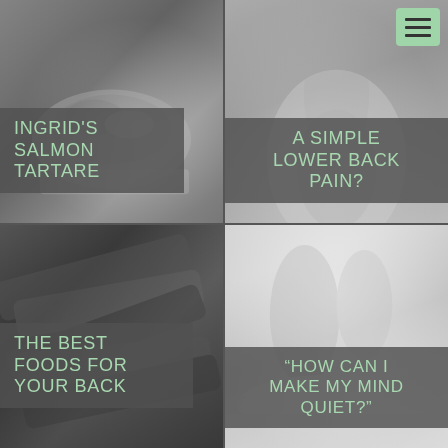[Figure (photo): Grayscale photo of salmon tartare dish on a plate, viewed from above]
INGRID'S SALMON TARTARE
[Figure (photo): Grayscale close-up photo of a person's lower back/spine area]
A SIMPLE LOWER BACK PAIN?
[Figure (photo): Grayscale close-up photo of asparagus or green beans]
THE BEST FOODS FOR YOUR BACK
[Figure (photo): Grayscale misty mountain landscape]
“HOW CAN I MAKE MY MIND QUIET?”